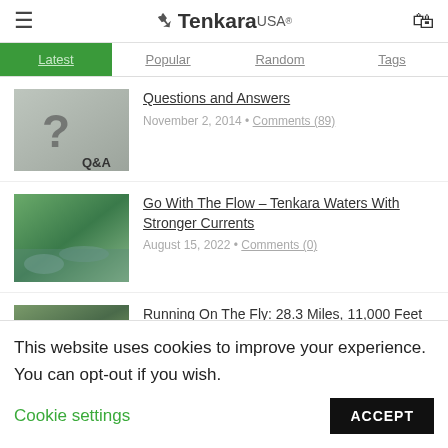Tenkara USA®
Latest | Popular | Random | Tags
[Figure (photo): Q&A thumbnail image with question mark and misty background]
Questions and Answers
November 2, 2014 • Comments (89)
[Figure (photo): Stream with rocks and green trees]
Go With The Flow – Tenkara Waters With Stronger Currents
August 15, 2022 • Comments (0)
[Figure (photo): Rocky landscape with greenery]
Running On The Fly: 28.3 Miles, 11,000 Feet and
This website uses cookies to improve your experience. You can opt-out if you wish.